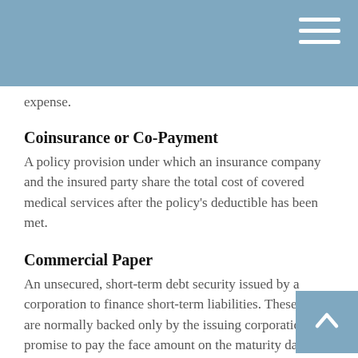expense.
Coinsurance or Co-Payment
A policy provision under which an insurance company and the insured party share the total cost of covered medical services after the policy's deductible has been met.
Commercial Paper
An unsecured, short-term debt security issued by a corporation to finance short-term liabilities. These notes are normally backed only by the issuing corporation's promise to pay the face amount on the maturity date specified on the note, which is usually less than six months.
Common Stock